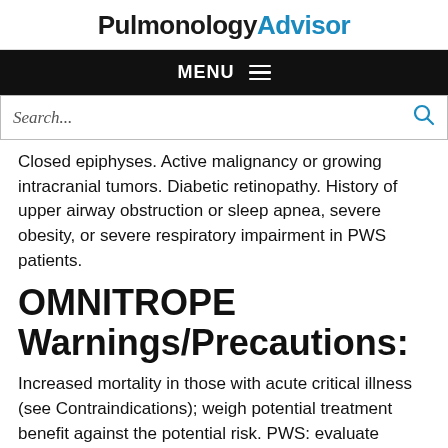PulmonologyAdvisor
MENU
Search...
Closed epiphyses. Active malignancy or growing intracranial tumors. Diabetic retinopathy. History of upper airway obstruction or sleep apnea, severe obesity, or severe respiratory impairment in PWS patients.
OMNITROPE Warnings/Precautions:
Increased mortality in those with acute critical illness (see Contraindications); weigh potential treatment benefit against the potential risk. PWS: evaluate baseline respiratory function; monitor weight and for respiratory infection; interrupt if signs of upper airway obstruction or sleep apnea